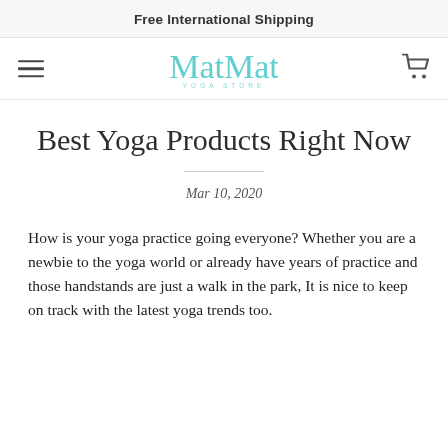Free International Shipping
[Figure (logo): MatMat Yoga Store logo in teal cursive script with subtitle 'YOGA STORE']
Best Yoga Products Right Now
Mar 10, 2020
How is your yoga practice going everyone? Whether you are a newbie to the yoga world or already have years of practice and those handstands are just a walk in the park, It is nice to keep on track with the latest yoga trends too.